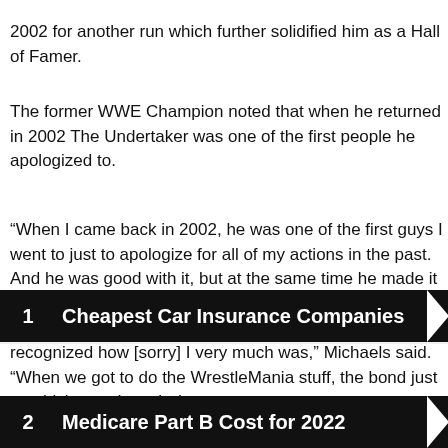2002 for another run which further solidified him as a Hall of Famer.
The former WWE Champion noted that when he returned in 2002 The Undertaker was one of the first people he apologized to.
“When I came back in 2002, he was one of the first guys I went to just to apologize for all of my actions in the past. And he was good with it, but at the same time he made it pretty clear: ‘We’ll see.’ I had a reputation. A lot of people weren’t sure that [my change] was real. Then of course he recognized how [sorry] I very much was,” Michaels said. “When we got to do the WrestleMania stuff, the bond just got thicker and much deeper.
Search for
1   Cheapest Car Insurance Companies
2   Medicare Part B Cost for 2022